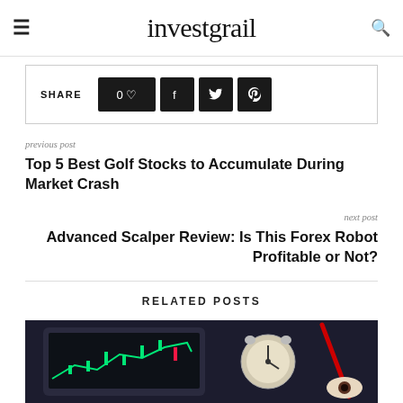investgrail
SHARE  0♡  f  twitter  pinterest
previous post
Top 5 Best Golf Stocks to Accumulate During Market Crash
next post
Advanced Scalper Review: Is This Forex Robot Profitable or Not?
RELATED POSTS
[Figure (photo): Dark background photo showing a tablet displaying a forex/stock trading chart with candlestick patterns in green, alongside an alarm clock and other items, suggesting trading and time management.]